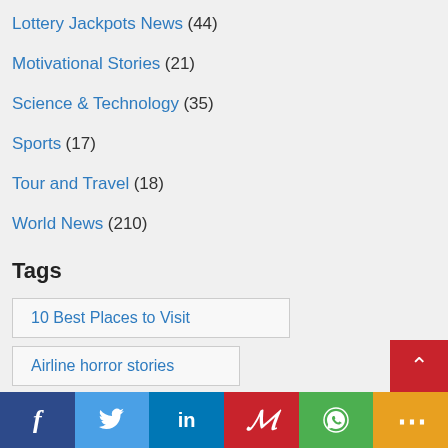Lottery Jackpots News (44)
Motivational Stories (21)
Science & Technology (35)
Sports (17)
Tour and Travel (18)
World News (210)
Tags
10 Best Places to Visit
Airline horror stories
Applicant Tracking System